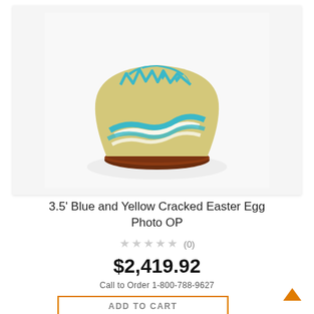[Figure (photo): 3.5 foot Blue and Yellow Cracked Easter Egg Photo OP decoration — a large cracked egg shell bowl shape in yellow/cream with blue wavy stripe patterns, sitting on a round brown wooden base, displayed against a white background.]
3.5' Blue and Yellow Cracked Easter Egg Photo OP
★★★★★ (0)
$2,419.92
Call to Order 1-800-788-9627
ADD TO CART